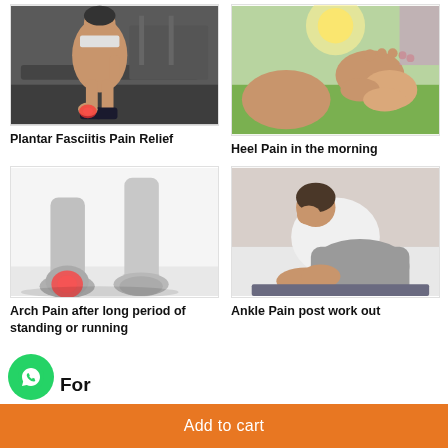[Figure (photo): Man sitting on gym floor holding ankle/foot near treadmill, highlighting pain area in red]
Plantar Fasciitis Pain Relief
[Figure (photo): Person sitting on grass holding/massaging foot, heel pain scenario with bright sunlight]
Heel Pain in the morning
[Figure (photo): Black and white image of feet/heels with red highlighted area showing arch pain]
Arch Pain after long period of standing or running
[Figure (photo): Woman in white sportswear sitting and holding ankle after workout]
Ankle Pain post work out
For
Add to cart